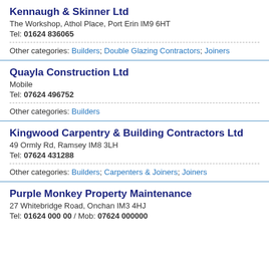Kennaugh & Skinner Ltd
The Workshop, Athol Place, Port Erin IM9 6HT
Tel: 01624 836065
Other categories: Builders; Double Glazing Contractors; Joiners
Quayla Construction Ltd
Mobile
Tel: 07624 496752
Other categories: Builders
Kingwood Carpentry & Building Contractors Ltd
49 Ormly Rd, Ramsey IM8 3LH
Tel: 07624 431288
Other categories: Builders; Carpenters & Joiners; Joiners
Purple Monkey Property Maintenance
27 Whitebridge Road, Onchan IM3 4HJ
Tel: 01624 000000 / Mob: 07624 000000